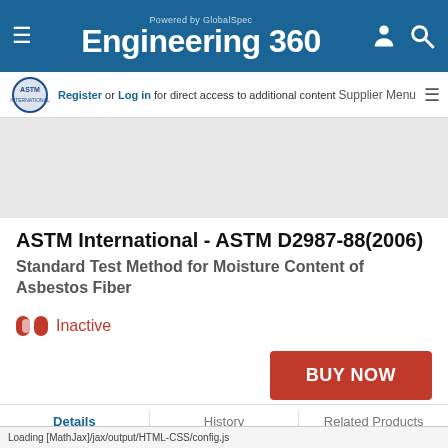Powered by GlobalSpec Engineering 360
[Figure (logo): ASTM International logo]
Register or Log in for direct access to additional content
ASTM International - ASTM D2987-88(2006)
Standard Test Method for Moisture Content of Asbestos Fiber
Inactive
BUY NOW
Details | History | Related Products
Organization:
ASTM International
Edition / Revision Date:
1 June 2006
Loading [MathJax]/jax/output/HTML-CSS/config.js